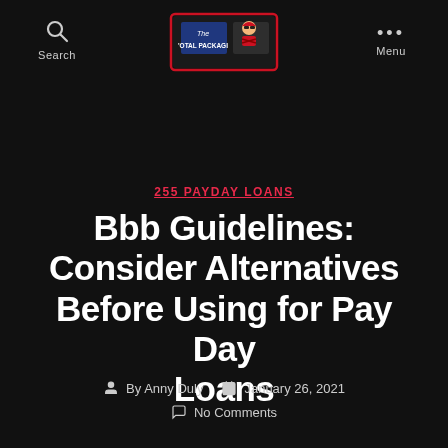Search | The 'Otal Package (logo) | Menu
255 PAYDAY LOANS
Bbb Guidelines: Consider Alternatives Before Using for Pay Day Loans
By Anny Duly   January 26, 2021   No Comments